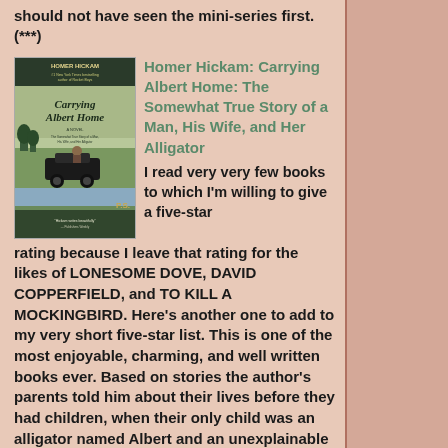should not have seen the mini-series first. (***)
[Figure (photo): Book cover of 'Carrying Albert Home' by Homer Hickam]
Homer Hickam: Carrying Albert Home: The Somewhat True Story of a Man, His Wife, and Her Alligator
I read very very few books to which I'm willing to give a five-star rating because I leave that rating for the likes of LONESOME DOVE, DAVID COPPERFIELD, and TO KILL A MOCKINGBIRD. Here's another one to add to my very short five-star list. This is one of the most enjoyable, charming, and well written books ever. Based on stories the author's parents told him about their lives before they had children, when their only child was an alligator named Albert and an unexplainable rooster. Lots of laughter, some thrills and chills, and a